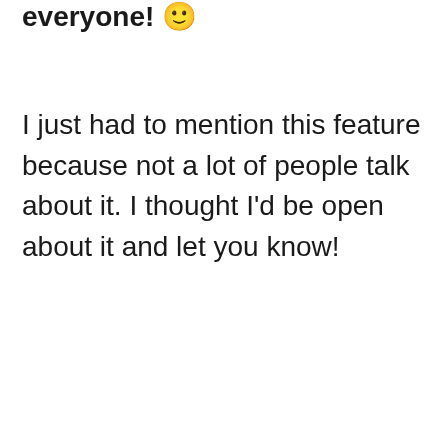everyone! 🙂
I just had to mention this feature because not a lot of people talk about it. I thought I'd be open about it and let you know!